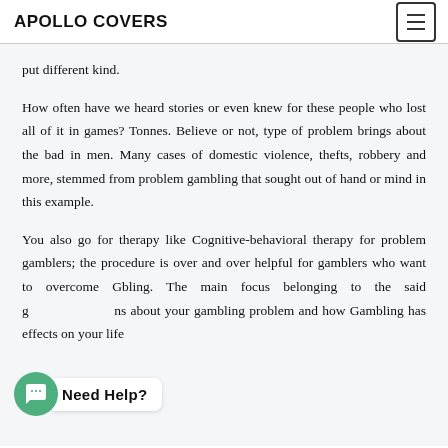APOLLO COVERS
put different kind.
How often have we heard stories or even knew for these people who lost all of it in games? Tonnes. Believe or not, type of problem brings about the bad in men. Many cases of domestic violence, thefts, robbery and more, stemmed from problem gambling that sought out of hand or mind in this example.
You also go for therapy like Cognitive-behavioral therapy for problem gamblers; the procedure is over and over helpful for gamblers who want to overcome Gambling. The main focus belonging to the said g ns about your gambling problem and how Gambling has effects on your life
[Figure (other): Chat widget showing a green chat bubble icon and 'Need Help?' label]